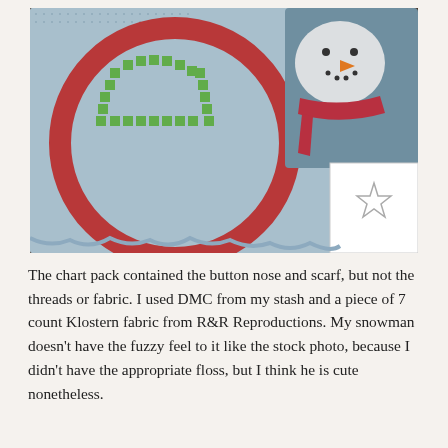[Figure (photo): A photo showing a blue aida/Klostern fabric in a red embroidery hoop with green cross-stitch work visible, placed on a dark wooden table. In the background, a completed snowman needlework project with an orange carrot nose and red scarf is visible, along with what appears to a coloring book or pattern sheet with a star design.]
The chart pack contained the button nose and scarf, but not the threads or fabric. I used DMC from my stash and a piece of 7 count Klostern fabric from R&R Reproductions. My snowman doesn't have the fuzzy feel to it like the stock photo, because I didn't have the appropriate floss, but I think he is cute nonetheless.